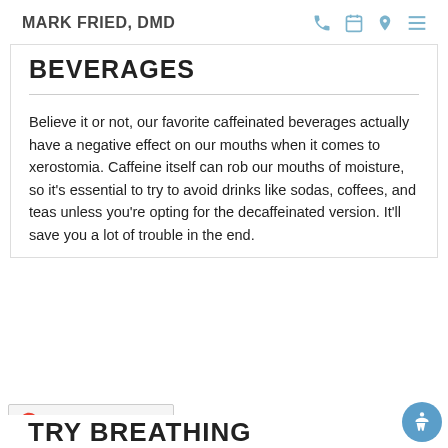MARK FRIED, DMD
BEVERAGES
Believe it or not, our favorite caffeinated beverages actually have a negative effect on our mouths when it comes to xerostomia. Caffeine itself can rob our mouths of moisture, so it's essential to try to avoid drinks like sodas, coffees, and teas unless you're opting for the decaffeinated version. It'll save you a lot of trouble in the end.
TRY BREATHING